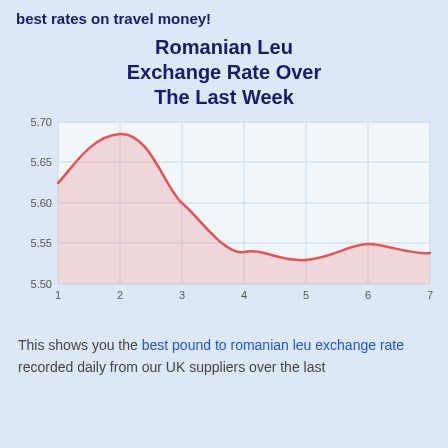best rates on travel money!
Romanian Leu Exchange Rate Over The Last Week
[Figure (area-chart): Romanian Leu Exchange Rate Over The Last Week]
This shows you the best pound to romanian leu exchange rate recorded daily from our UK suppliers over the last week.